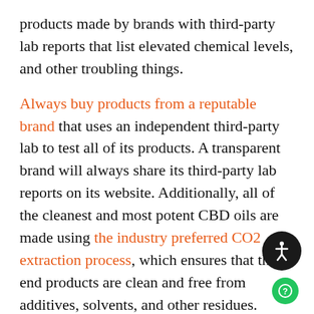products made by brands with third-party lab reports that list elevated chemical levels, and other troubling things.
Always buy products from a reputable brand that uses an independent third-party lab to test all of its products. A transparent brand will always share its third-party lab reports on its website. Additionally, all of the cleanest and most potent CBD oils are made using the industry preferred CO2 extraction process, which ensures that the end products are clean and free from additives, solvents, and other residues. Lastly, avoid products from brands that make wild and far-fetched claims, as they are most likely promising things they cannot deliver on.